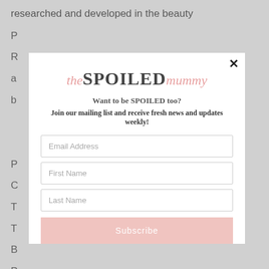researched and developed in the beauty
P
R
a
b
P
C
T
T
B
P
S
I
S
I
C
[Figure (screenshot): Modal popup for 'the SPOILED mummy' newsletter subscription with logo, tagline 'Want to be SPOILED too?', 'Join our mailing list and receive fresh news and updates weekly!', input fields for Email Address, First Name, Last Name, and a Subscribe button. A close (x) button is in the top right corner.]